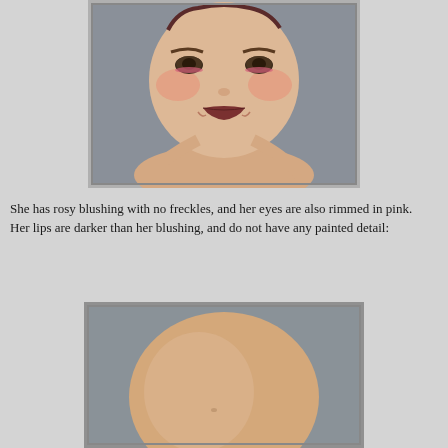[Figure (photo): Close-up photo of a doll's face and upper torso. The doll has rosy blushed cheeks, pink-rimmed eyes, dark reddish-brown lips, and no hair visible. The background is gray. The doll's body is a peachy skin-toned torso.]
She has rosy blushing with no freckles, and her eyes are also rimmed in pink.  Her lips are darker than her blushing, and do not have any painted detail:
[Figure (photo): Photo of the back of a doll's head - a smooth, round, bald peach/skin-toned skull with no hair, shown against a gray background.]